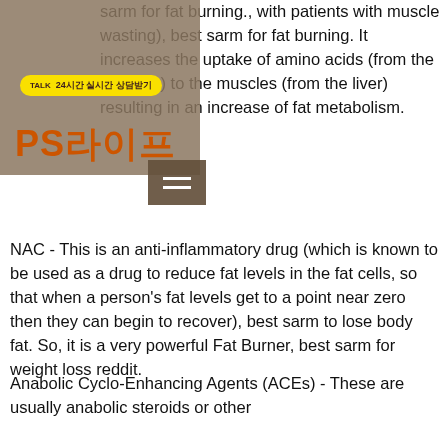sarm for fat burning., with patients with muscle wasting), best sarm for fat burning. It increases the uptake of amino acids (from the muscles) to the muscles (from the liver) resulting in an increase of fat metabolism.
NAC - This is an anti-inflammatory drug (which is known to be used as a drug to reduce fat levels in the fat cells, so that when a person's fat levels get to a point near zero then they can begin to recover), best sarm to lose body fat. So, it is a very powerful Fat Burner, best sarm for weight loss reddit.
Anabolic Cyclo-Enhancing Agents (ACEs) - These are usually anabolic steroids or other very strong anabolic steroids such as androandrostenedione or Nandrolone, best sarm to burn fat.
Cyazofiban (Xarelto) - This is a powerful muscle building steroid. It stimulates fat...